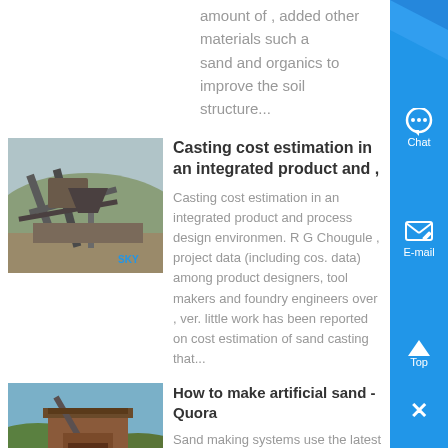amount of , added other materials such as sand and organics to improve the soil structure...
[Figure (photo): Industrial mining/crushing equipment with conveyor belts on a hillside, branded SKY]
Casting cost estimation in an integrated product and ,
Casting cost estimation in an integrated product and process design environment R G Chougule , project data (including cost data) among product designers, tool makers and foundry engineers over , very little work has been reported on cost estimation of sand casting that...
[Figure (photo): Industrial sand washing/dredging equipment at a waterside facility, branded SKY]
How to make artificial sand - Quora
Sand making systems use the latest technology to create artificial sand from stones or rocks that have been tested an...